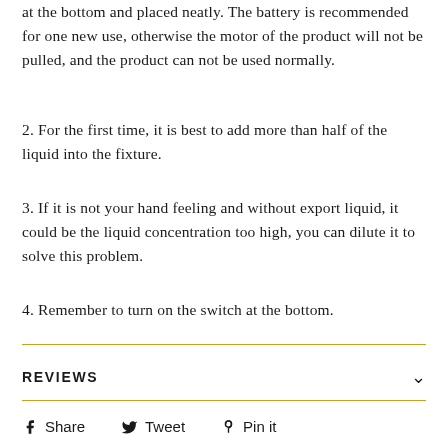at the bottom and placed neatly. The battery is recommended for one new use, otherwise the motor of the product will not be pulled, and the product can not be used normally.
2. For the first time, it is best to add more than half of the liquid into the fixture.
3. If it is not your hand feeling and without export liquid, it could be the liquid concentration too high, you can dilute it to solve this problem.
4. Remember to turn on the switch at the bottom.
REVIEWS
Share  Tweet  Pin it